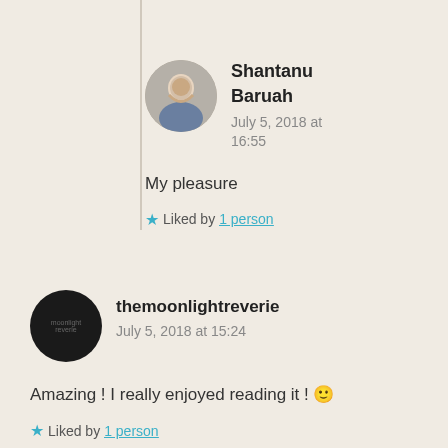Shantanu Baruah
July 5, 2018 at 16:55
My pleasure
Liked by 1 person
themoonlightreverie
July 5, 2018 at 15:24
Amazing ! I really enjoyed reading it ! 🙂
Liked by 1 person